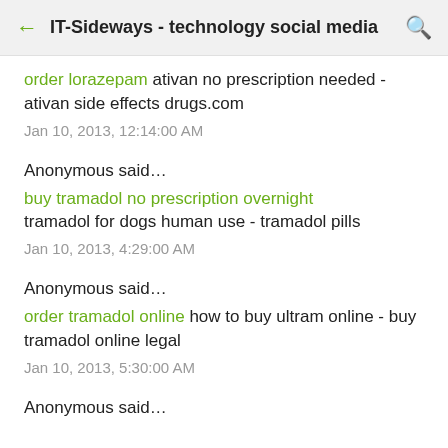IT-Sideways - technology social media
order lorazepam ativan no prescription needed - ativan side effects drugs.com
Jan 10, 2013, 12:14:00 AM
Anonymous said…
buy tramadol no prescription overnight tramadol for dogs human use - tramadol pills
Jan 10, 2013, 4:29:00 AM
Anonymous said…
order tramadol online how to buy ultram online - buy tramadol online legal
Jan 10, 2013, 5:30:00 AM
Anonymous said…